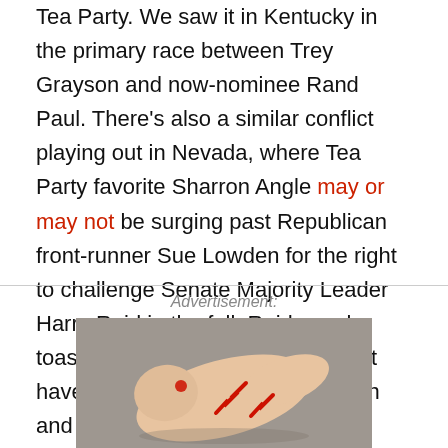Tea Party. We saw it in Kentucky in the primary race between Trey Grayson and now-nominee Rand Paul. There's also a similar conflict playing out in Nevada, where Tea Party favorite Sharron Angle may or may not be surging past Republican front-runner Sue Lowden for the right to challenge Senate Majority Leader Harry Reid in the fall. Reid may be toast against Lowden, but he might have a shot against the less-known and more extreme Angle.
Advertisement:
[Figure (photo): Photo of a human foot/ankle on a grey fabric background with red markings or irritation spots visible on the skin.]